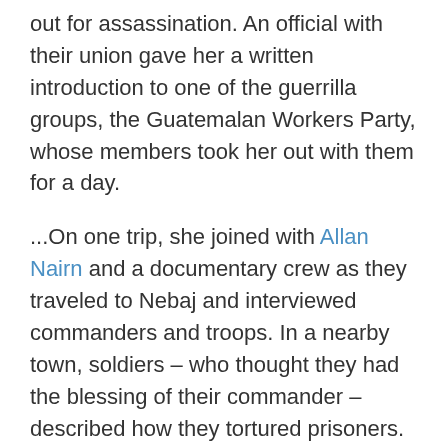out for assassination. An official with their union gave her a written introduction to one of the guerrilla groups, the Guatemalan Workers Party, whose members took her out with them for a day.
...On one trip, she joined with Allan Nairn and a documentary crew as they traveled to Nebaj and interviewed commanders and troops. In a nearby town, soldiers – who thought they had the blessing of their commander – described how they tortured prisoners. In other places, she and the film crew saw how the military was forcibly moving indigenous people into “model villages” while pressing the men into civil patrols.
...In later years, she prepared reports for international human rights groups and connected visitors with local advocates who were demanding answers from the military regime. It was a sinister time, when activists would be murdered alongside their infant children. She recalls meeting one woman who told her that she